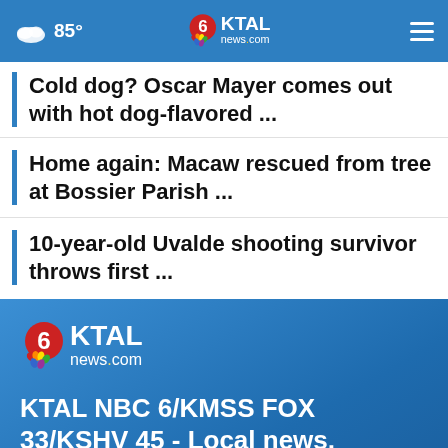85° KTAL news.com
Cold dog? Oscar Mayer comes out with hot dog-flavored ...
Home again: Macaw rescued from tree at Bossier Parish ...
10-year-old Uvalde shooting survivor throws first ...
[Figure (logo): KTAL NBC news.com logo on blue background]
KTAL NBC 6/KMSS FOX 33/KSHV 45 - Local news, Weather, Sports | Shreveport, Marshall, Texarkana